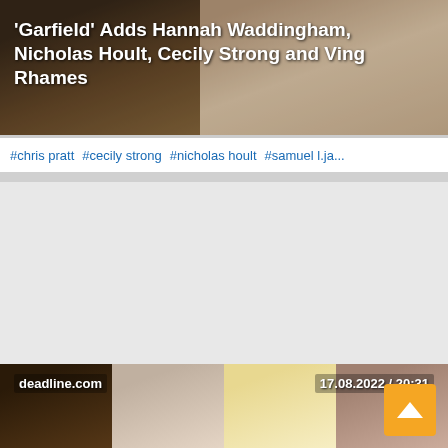[Figure (photo): Article card with photo of two people partially visible, overlaid with article title, percentage, and view count]
'Garfield' Adds Hannah Waddingham, Nicholas Hoult, Cecily Strong and Ving Rhames
80%
459
#chris pratt  #cecily strong  #nicholas hoult  #samuel l.ja...
[Figure (photo): Article card showing four actors: Ving Rhames, Nicholas Hoult, Hannah Waddingham, and Cecily Strong. Source: deadline.com, date: 17.08.2022 / 20:31]
deadline.com
17.08.2022 / 20:31
'Garfield': Ving Rhames, Nicholas Hoult, Hannah Waddingham & Cecily Strong Board Animated Feature From Alcon Entertainment
60%
388
#chris pratt  #nicholas hoult  #samuel l.jackson  #n